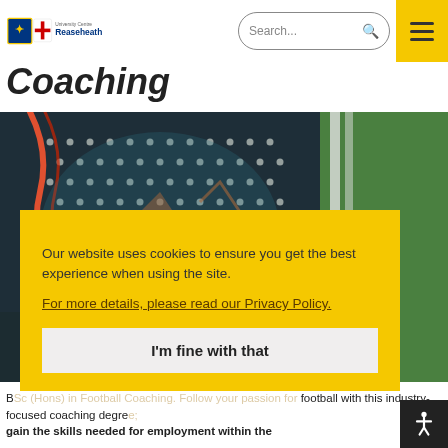University Centre Reaseheath — Search bar and navigation menu
Coaching
[Figure (photo): Close-up photo of a football/soccer ball with mesh netting texture and red/orange cord, with a green sports jersey visible on the right side]
Our website uses cookies to ensure you get the best experience when using the site.
For more details, please read our Privacy Policy.
I'm fine with that
BSc (Hons) in Football Coaching. Follow your passion for football with this industry-focused coaching degree; gain the skills needed for employment within the